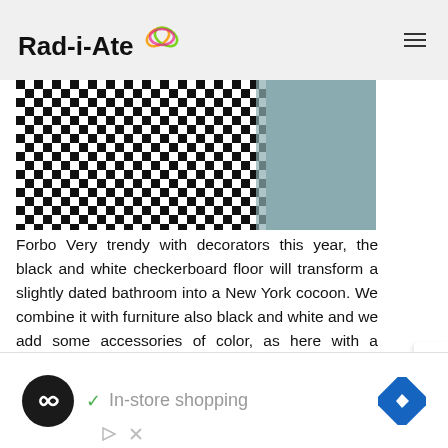Rad-i-Ate
[Figure (photo): Close-up photo of a black and white checkerboard floor pattern, with a blurred teal/gray background on the right side.]
Forbo Very trendy with decorators this year, the black and white checkerboard floor will transform a slightly dated bathroom into a New York cocoon. We combine it with furniture also black and white and we add some accessories of color, as here with a Scandinavian chair of a pretty mint green.
[Figure (screenshot): Advertisement banner: black circle with infinity-like icon, checkmark with 'In-store shopping' text in gray, blue diamond navigation icon. Small play and close icons below.]